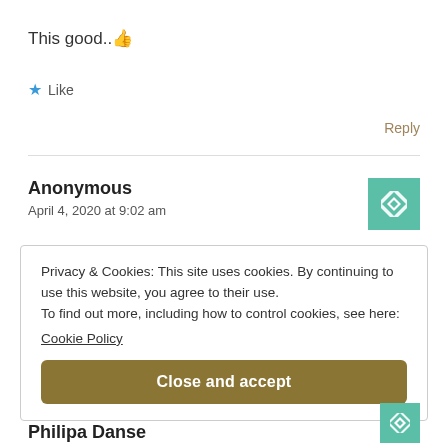This good.. 👍
★ Like
Reply
Anonymous
April 4, 2020 at 9:02 am
[Figure (illustration): Teal/green decorative geometric avatar icon for Anonymous user]
Privacy & Cookies: This site uses cookies. By continuing to use this website, you agree to their use.
To find out more, including how to control cookies, see here:
Cookie Policy

[Close and accept button]
Philipa Danse